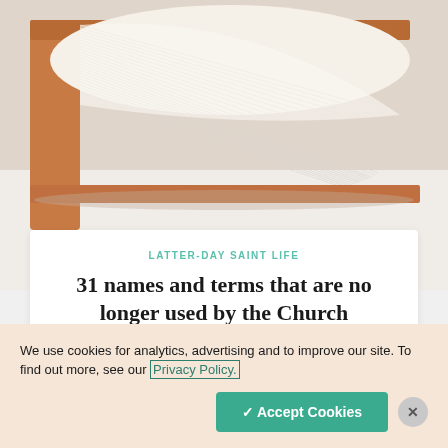[Figure (photo): Close-up photograph of an open book with cream/white pages fanned open, brown/tan hardcover visible, on a light background]
LATTER-DAY SAINT LIFE
31 names and terms that are no longer used by the Church
We use cookies for analytics, advertising and to improve our site. To find out more, see our Privacy Policy.
✓ Accept Cookies